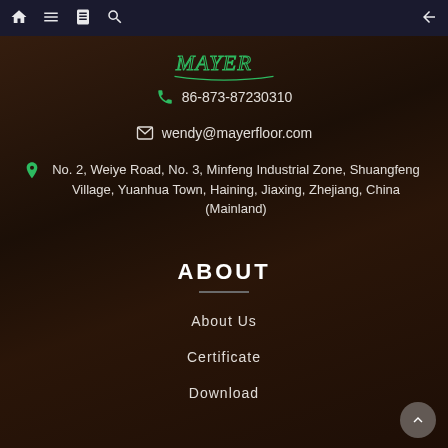Navigation bar with home, menu, book, search icons (left) and back arrow (right)
[Figure (logo): MAYER brand logo in green cursive text with decorative underline]
86-873-87230310
wendy@mayerfloor.com
No. 2, Weiye Road, No. 3, Minfeng Industrial Zone, Shuangfeng Village, Yuanhua Town, Haining, Jiaxing, Zhejiang, China (Mainland)
ABOUT
About Us
Certificate
Download
CATEGORIES